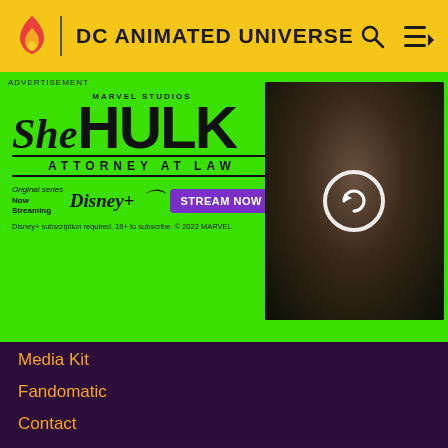DC ANIMATED UNIVERSE
[Figure (screenshot): She-Hulk Attorney at Law advertisement on green background with Disney+ branding and Stream Now button, plus photo of actress on right side with reload icon overlay]
Media Kit
Fandomatic
Contact
FANDOM APPS
Take your favorite fandoms with you and never miss a beat.
[Figure (logo): Fandom app icon and app store download badges for Apple App Store and Google Play Store]